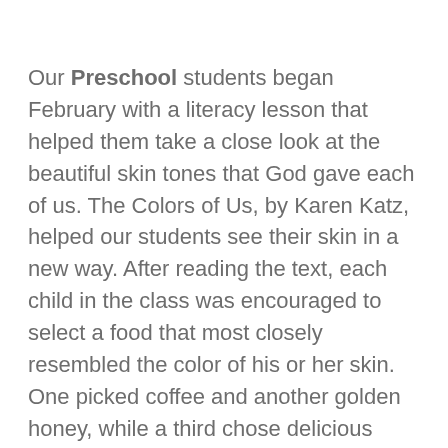Our Preschool students began February with a literacy lesson that helped them take a close look at the beautiful skin tones that God gave each of us. The Colors of Us, by Karen Katz, helped our students see their skin in a new way. After reading the text, each child in the class was encouraged to select a food that most closely resembled the color of his or her skin. One picked coffee and another golden honey, while a third chose delicious vanilla ice cream. Just imagine the conversation your family might have at dinner tonight if everyone thought about skin color in this way!